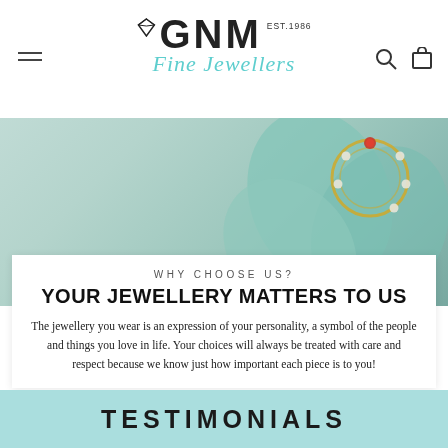[Figure (logo): GNM Fine Jewellers logo with diamond icon, EST. 1986, and teal italic script]
[Figure (photo): Hero image showing jewellery piece with gemstones on a teal/green background]
WHY CHOOSE US?
YOUR JEWELLERY MATTERS TO US
The jewellery you wear is an expression of your personality, a symbol of the people and things you love in life. Your choices will always be treated with care and respect because we know just how important each piece is to you!
TESTIMONIALS